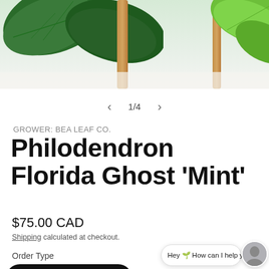[Figure (photo): Product photo of Philodendron Florida Ghost 'Mint' plant with large dark green leaves and wooden stake/stand, against a light background. Image carousel showing 1 of 4.]
1/4
GROWER: BEA LEAF CO.
Philodendron Florida Ghost 'Mint'
$75.00 CAD
Shipping calculated at checkout.
Order Type
August Pre-order
Hey 🌿 How can I help you? ×